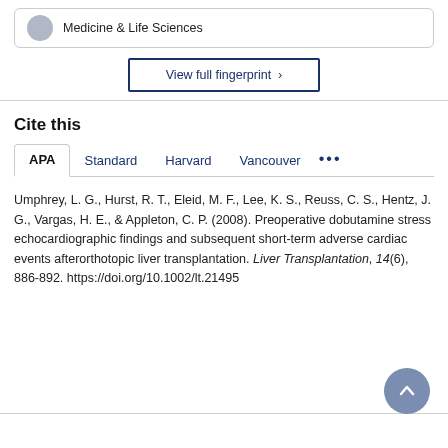Medicine & Life Sciences
View full fingerprint ›
Cite this
APA  Standard  Harvard  Vancouver  •••
Umphrey, L. G., Hurst, R. T., Eleid, M. F., Lee, K. S., Reuss, C. S., Hentz, J. G., Vargas, H. E., & Appleton, C. P. (2008). Preoperative dobutamine stress echocardiographic findings and subsequent short-term adverse cardiac events afterorthotopic liver transplantation. Liver Transplantation, 14(6), 886-892. https://doi.org/10.1002/lt.21495